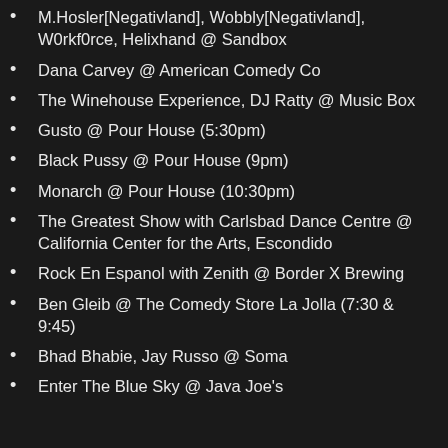M.Hosler[Negativland], Wobbly[Negativland], W0rkf0rce, Helixhand @ Sandbox
Dana Carvey @ American Comedy Co
The Winehouse Experience, DJ Ratty @ Music Box
Gusto @ Pour House (5:30pm)
Black Pussy @ Pour House (9pm)
Monarch @ Pour House (10:30pm)
The Greatest Show with Carlsbad Dance Centre @ California Center for the Arts, Escondido
Rock En Espanol with Zenith @ Border X Brewing
Ben Gleib @ The Comedy Store La Jolla (7:30 & 9:45)
Bhad Bhabie, Jay Russo @ Soma
Enter The Blue Sky @ Java Joe's